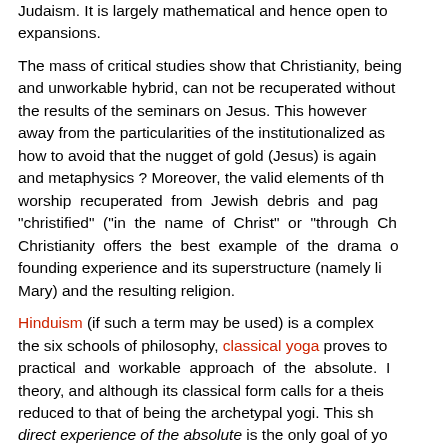Judaism. It is largely mathematical and hence open to expansions.
The mass of critical studies show that Christianity, being an awkward and unworkable hybrid, can not be recuperated without accepting the results of the seminars on Jesus. This however does not move away from the particularities of the institutionalized as how to avoid that the nugget of gold (Jesus) is again buried in myth and metaphysics ? Moreover, the valid elements of the original worship recuperated from Jewish debris and paganisms be "christified" ("in the name of Christ" or "through Christ"). Christianity offers the best example of the drama of a genuine founding experience and its superstructure (namely liturgy of Mary) and the resulting religion.
Hinduism (if such a term may be used) is a complex the six schools of philosophy, classical yoga proves to be the most practical and workable approach of the absolute. It has a solid theory, and although its classical form calls for a theistic God reduced to that of being the archetypal yogi. This sh direct experience of the absolute is the only goal of yo oldest conceptualization of the methods leading the in